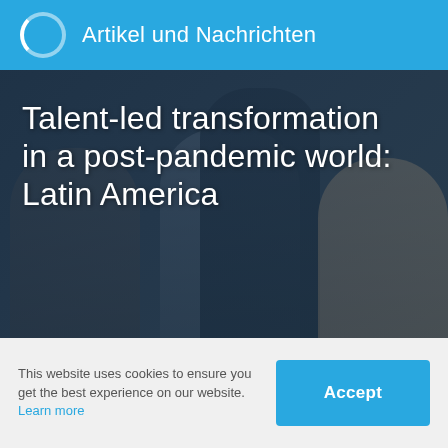Artikel und Nachrichten
[Figure (photo): Group of business professionals in an office or meeting room setting, multiple people visible including a woman on the left, a man in the center, and a woman on the right smiling, with a dark-suited figure from behind in the foreground.]
Talent-led transformation in a post-pandemic world: Latin America
This website uses cookies to ensure you get the best experience on our website. Learn more
Accept